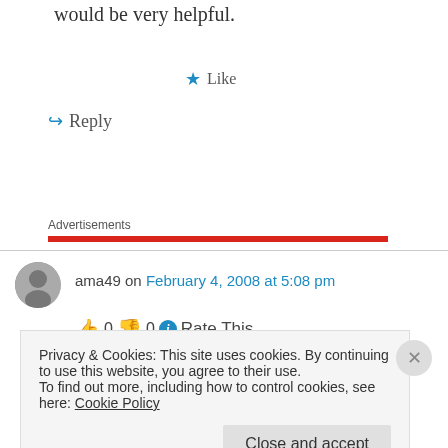would be very helpful.
★ Like
↪ Reply
Advertisements
ama49 on February 4, 2008 at 5:08 pm
👍 0 👎 0 ℹ Rate This
Privacy & Cookies: This site uses cookies. By continuing to use this website, you agree to their use.
To find out more, including how to control cookies, see here: Cookie Policy
Close and accept